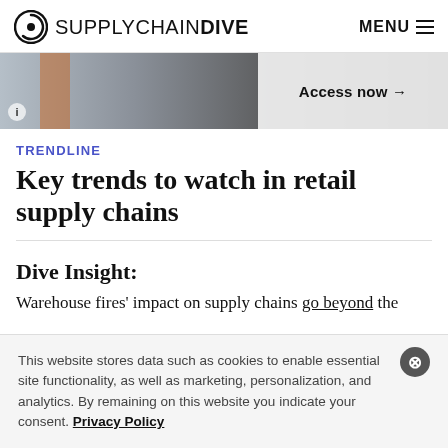SUPPLYCHAIN DIVE  MENU
[Figure (photo): Banner image showing warehouse workers, with 'Access now →' button overlay on the right side]
TRENDLINE
Key trends to watch in retail supply chains
Dive Insight:
Warehouse fires' impact on supply chains go beyond the
This website stores data such as cookies to enable essential site functionality, as well as marketing, personalization, and analytics. By remaining on this website you indicate your consent. Privacy Policy